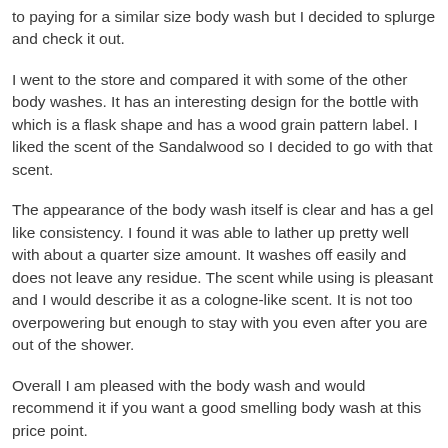to paying for a similar size body wash but I decided to splurge and check it out.
I went to the store and compared it with some of the other body washes. It has an interesting design for the bottle with which is a flask shape and has a wood grain pattern label. I liked the scent of the Sandalwood so I decided to go with that scent.
The appearance of the body wash itself is clear and has a gel like consistency. I found it was able to lather up pretty well with about a quarter size amount. It washes off easily and does not leave any residue. The scent while using is pleasant and I would describe it as a cologne-like scent. It is not too overpowering but enough to stay with you even after you are out of the shower.
Overall I am pleased with the body wash and would recommend it if you want a good smelling body wash at this price point.
For more reviews on shampoos, body washes, and  face